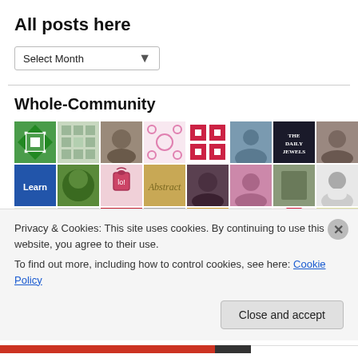All posts here
Select Month
Whole-Community
[Figure (illustration): Grid of community member avatar thumbnails arranged in 3 rows of 8 images each, showing various profile pictures, avatars, patterns, and icons.]
Privacy & Cookies: This site uses cookies. By continuing to use this website, you agree to their use.
To find out more, including how to control cookies, see here: Cookie Policy
Close and accept